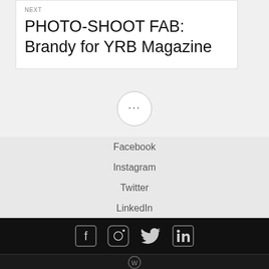NEXT
PHOTO-SHOOT FAB: Brandy for YRB Magazine
[Figure (other): Circle button with three dots (ellipsis/more options icon)]
Facebook
Instagram
Twitter
LinkedIn
[Figure (other): Social media icon bar with Facebook, Instagram, Twitter, and LinkedIn icons on black background]
[Figure (logo): WordPress logo on dark footer bar]